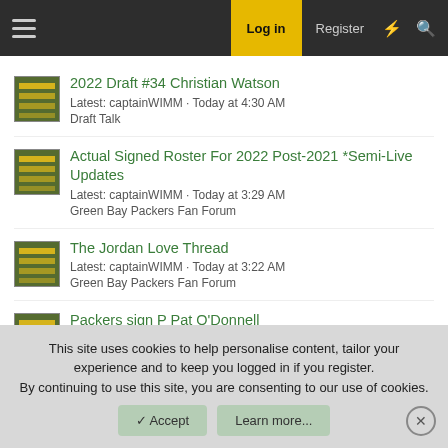Log in  Register
2022 Draft #34 Christian Watson
Latest: captainWIMM · Today at 4:30 AM
Draft Talk
Actual Signed Roster For 2022 Post-2021 *Semi-Live Updates
Latest: captainWIMM · Today at 3:29 AM
Green Bay Packers Fan Forum
The Jordan Love Thread
Latest: captainWIMM · Today at 3:22 AM
Green Bay Packers Fan Forum
Packers sign P Pat O'Donnell
Latest: captainWIMM · Today at 3:17 AM
Green Bay Packers Fan Forum
This site uses cookies to help personalise content, tailor your experience and to keep you logged in if you register.
By continuing to use this site, you are consenting to our use of cookies.
Accept  Learn more...